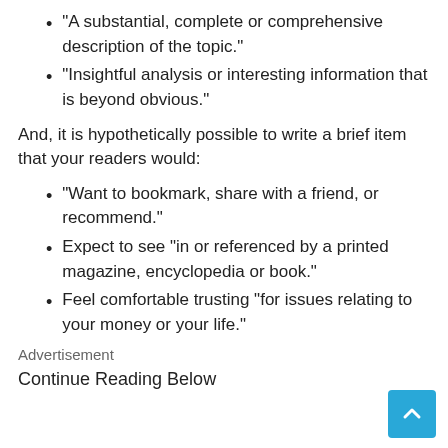“A substantial, complete or comprehensive description of the topic.”
“Insightful analysis or interesting information that is beyond obvious.”
And, it is hypothetically possible to write a brief item that your readers would:
“Want to bookmark, share with a friend, or recommend.”
Expect to see “in or referenced by a printed magazine, encyclopedia or book.”
Feel comfortable trusting “for issues relating to your money or your life.”
Advertisement
Continue Reading Below